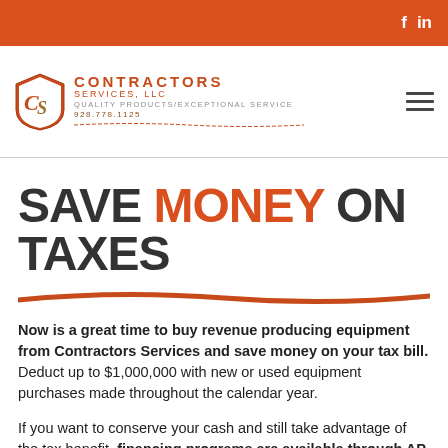f  in
[Figure (logo): Contractors Services LLC logo with CS shield emblem, company name, tagline 'Quality Products/Exceptional Service' and phone number 928.778.1125]
SAVE MONEY ON TAXES
Now is a great time to buy revenue producing equipment from Contractors Services and save money on your tax bill. Deduct up to $1,000,000 with new or used equipment purchases made throughout the calendar year.
If you want to conserve your cash and still take advantage of the tax benefit, financing programs are available through AP Equipment Financing, with minimal out of pocket expenses and a simple application process.